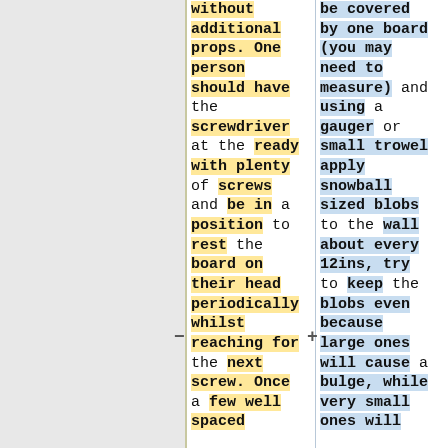without additional props. One person should have the screwdriver at the ready with plenty of screws and be in a position to rest the board on their head periodically whilst reaching for the next screw. Once a few well spaced
be covered by one board (you may need to measure) and using a gauger or small trowel apply snowball sized blobs to the wall about every 12ins, try to keep the blobs even because large ones will cause a bulge, while very small ones will